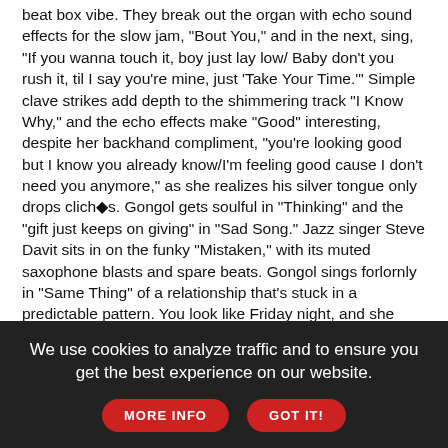beat box vibe. They break out the organ with echo sound effects for the slow jam, "Bout You," and in the next, sing, "If you wanna touch it, boy just lay low/ Baby don't you rush it, til I say you're mine, just 'Take Your Time.'" Simple clave strikes add depth to the shimmering track "I Know Why," and the echo effects make "Good" interesting, despite her backhand compliment, "you're looking good but I know you already know/I'm feeling good cause I don't need you anymore," as she realizes his silver tongue only drops clichés. Gongol gets soulful in "Thinking" and the "gift just keeps on giving" in "Sad Song." Jazz singer Steve Davit sits in on the funky "Mistaken," with its muted saxophone blasts and spare beats. Gongol sings forlornly in "Same Thing" of a relationship that's stuck in a predictable pattern. You look like Friday night, and she wants to "dress you up and take you on a carpet ride" in the funky closing cut, "I Want You." If you're looking for something fresh and new, look no further.
(Republic Records)
[Figure (screenshot): Advertisement banner showing 'CoastClear' product with green pricing section showing 'for less than $2.00', a photo of a person, CoastClear text in blue, and a logo on the right with a close button.]
We use cookies to analyze traffic and to ensure you get the best experience on our website.